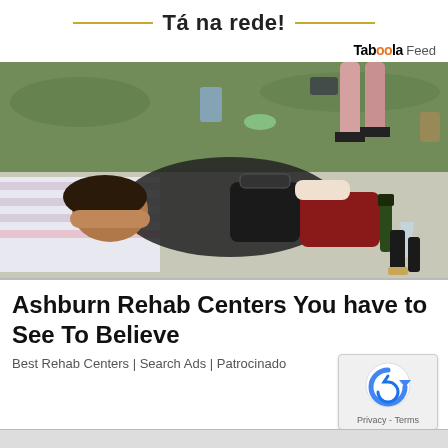Tá na rede!
Taboola Feed
[Figure (photo): Two women lying on grass/blankets at an outdoor event, surrounded by scattered items including bags, bottles, and shoes. Other people's legs visible in background.]
Ashburn Rehab Centers You have to See To Believe
Best Rehab Centers | Search Ads | Patrocinado
[Figure (logo): reCAPTCHA logo — blue circular arrow icon with Privacy - Terms text below]